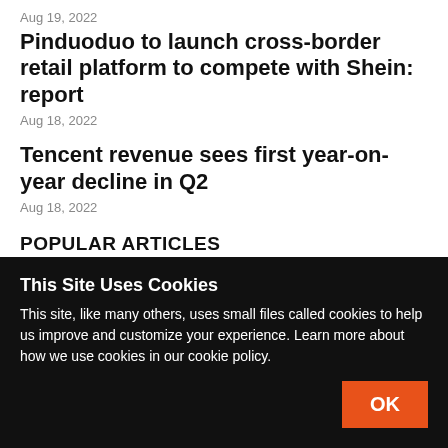Aug 19, 2022
Pinduoduo to launch cross-border retail platform to compete with Shein: report
Aug 18, 2022
Tencent revenue sees first year-on-year decline in Q2
Aug 18, 2022
POPULAR ARTICLES
Nokia demands $2.54 per phone to allow Oppo and
This Site Uses Cookies
This site, like many others, uses small files called cookies to help us improve and customize your experience. Learn more about how we use cookies in our cookie policy.